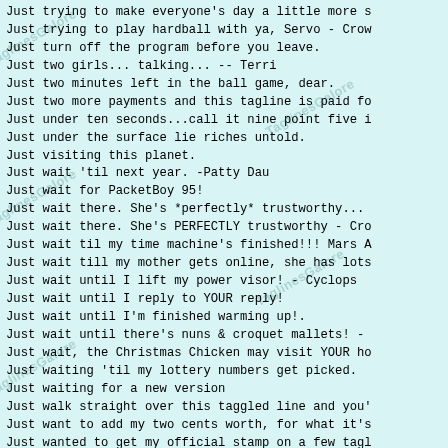Just trying to make everyone's day a little more s
Just trying to play hardball with ya, Servo - Crow
Just turn off the program before you leave.
Just two girls... talking... -- Terri
Just two minutes left in the ball game, dear.
Just two more payments and this tagline is paid fo
Just under ten seconds...call it nine point five i
Just under the surface lie riches untold.
Just visiting this planet.
Just wait 'til next year. -Patty Dau
Just wait for PacketBoy 95!
Just wait there.  She's *perfectly* trustworthy...
Just wait there. She's PERFECTLY trustworthy - Cro
Just wait til my time machine's finished!!! Mars A
Just wait till my mother gets online, she has lots
Just wait until I lift my power visor! - Cyclops
Just wait until I reply to YOUR reply!
Just wait until I'm finished warming up!.
Just wait until there's nuns & croquet mallets! -
Just wait, the Christmas Chicken may visit YOUR ho
Just waiting 'til my lottery numbers get picked.
Just waiting for a new version
Just walk straight over this taggled line and you'
Just want to add my two cents worth, for what it's
Just wanted to get my official stamp on a few tagl
Just wanted to let you know: I HEARD THAT!!!!
Just wanted to pass along an invitation of my own
Just washed my computer and can't do a thing with
Just washed my hair - can't do a thing with the si
Just watch jet-jockey in action! -Major Fokker
Just watch the show. I got that sciatic nerv